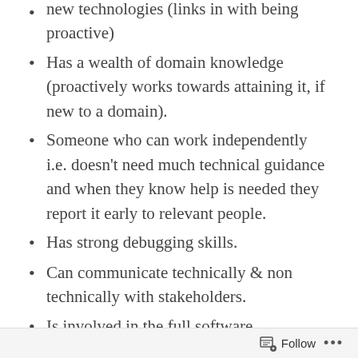new technologies (links in with being proactive)
Has a wealth of domain knowledge (proactively works towards attaining it, if new to a domain).
Someone who can work independently i.e. doesn’t need much technical guidance and when they know help is needed they report it early to relevant people.
Has strong debugging skills.
Can communicate technically & non technically with stakeholders.
Is involved in the full software development lifecycle.
Can lead design and architecture decisions.
Is accountable for a solution delivery and
Follow ...